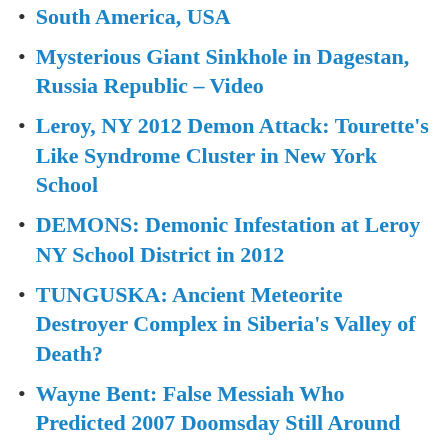South America, USA
Mysterious Giant Sinkhole in Dagestan, Russia Republic – Video
Leroy, NY 2012 Demon Attack: Tourette's Like Syndrome Cluster in New York School
DEMONS: Demonic Infestation at Leroy NY School District in 2012
TUNGUSKA: Ancient Meteorite Destroyer Complex in Siberia's Valley of Death?
Wayne Bent: False Messiah Who Predicted 2007 Doomsday Still Around
Demons Exorcised: Polish Exorcisms Available For Internet Addicts
lizkay04
LieKillers: Who Are LieKillers?